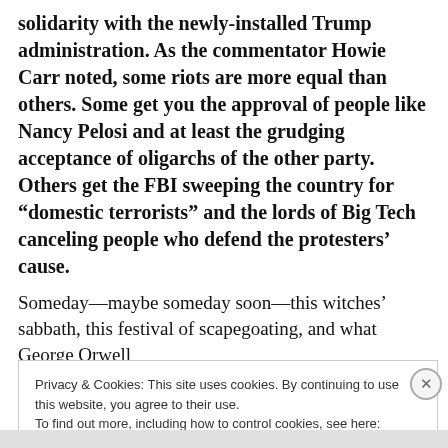solidarity with the newly-installed Trump administration. As the commentator Howie Carr noted, some riots are more equal than others. Some get you the approval of people like Nancy Pelosi and at least the grudging acceptance of oligarchs of the other party. Others get the FBI sweeping the country for “domestic terrorists” and the lords of Big Tech canceling people who defend the protesters’ cause.
Someday—maybe someday soon—this witches’ sabbath, this festival of scapegoating, and what George Orwell
Privacy & Cookies: This site uses cookies. By continuing to use this website, you agree to their use.
To find out more, including how to control cookies, see here: Cookie Policy
Close and accept